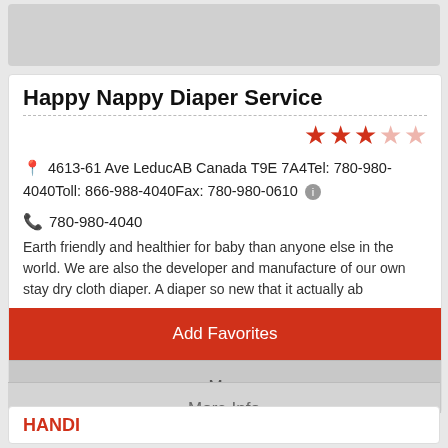[Figure (photo): Gray placeholder image at top of screen]
Happy Nappy Diaper Service
[Figure (other): Star rating: 3 out of 5 stars (red stars, 3 filled, 2 empty)]
4613-61 Ave LeducAB Canada T9E 7A4Tel: 780-980-4040Toll: 866-988-4040Fax: 780-980-0610
780-980-4040
Earth friendly and healthier for baby than anyone else in the world. We are also the developer and manufacture of our own stay dry cloth diaper. A diaper so new that it actually ab
Add Favorites
Map
More Info
HANDI